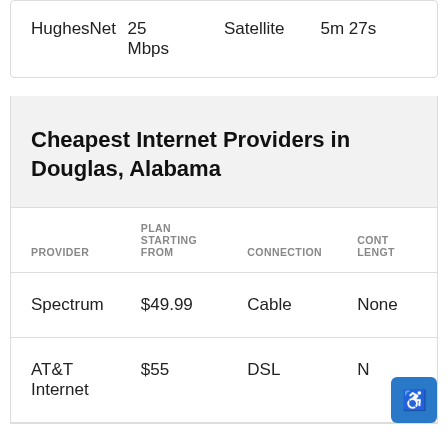| Provider | Plan Starting From | Connection | Contract Length |
| --- | --- | --- | --- |
| HughesNet | 25 Mbps | Satellite | 5m 27s |
Cheapest Internet Providers in Douglas, Alabama
| PROVIDER | PLAN STARTING FROM | CONNECTION | CONTRACT LENGTH |
| --- | --- | --- | --- |
| Spectrum | $49.99 | Cable | None |
| AT&T Internet | $55 | DSL | N |